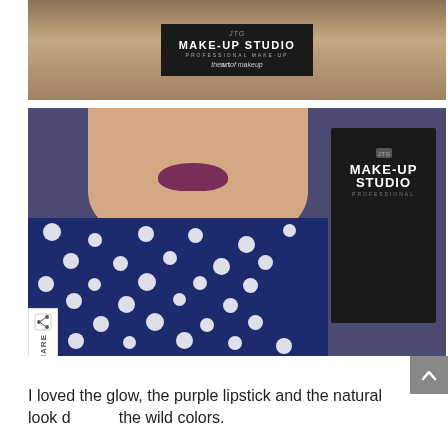[Figure (photo): Make-Up Studio Professional brand logo/product on wooden surface — top banner photo]
[Figure (photo): Woman wearing navy blue polka dot dress with purple lipstick, holding a Make-Up Studio Professional black catalog/book, posing with a kiss expression. Share button visible on left side.]
I loved the glow, the purple lipstick and the natural look de the wild colors.